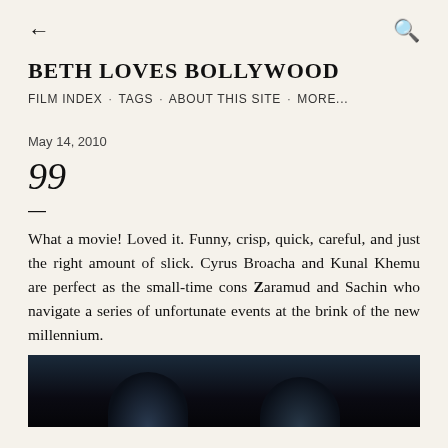← (back) | (search)
BETH LOVES BOLLYWOOD
FILM INDEX · TAGS · ABOUT THIS SITE · MORE...
May 14, 2010
99
—
What a movie! Loved it. Funny, crisp, quick, careful, and just the right amount of slick. Cyrus Broacha and Kunal Khemu are perfect as the small-time cons Zaramud and Sachin who navigate a series of unfortunate events at the brink of the new millennium.
[Figure (photo): Dark photo showing two male actors, partially visible, with dark background]